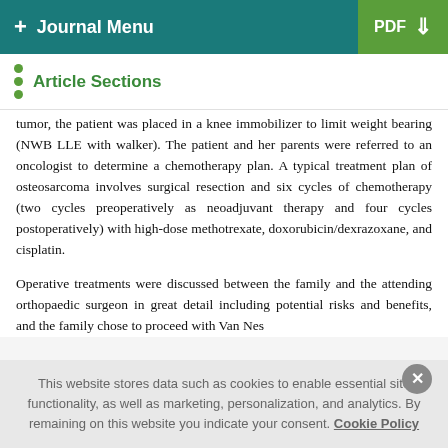+ Journal Menu  PDF ↓
Article Sections
tumor, the patient was placed in a knee immobilizer to limit weight bearing (NWB LLE with walker). The patient and her parents were referred to an oncologist to determine a chemotherapy plan. A typical treatment plan of osteosarcoma involves surgical resection and six cycles of chemotherapy (two cycles preoperatively as neoadjuvant therapy and four cycles postoperatively) with high-dose methotrexate, doxorubicin/dexrazoxane, and cisplatin.
Operative treatments were discussed between the family and the attending orthopaedic surgeon in great detail including potential risks and benefits, and the family chose to proceed with Van Nes
This website stores data such as cookies to enable essential site functionality, as well as marketing, personalization, and analytics. By remaining on this website you indicate your consent. Cookie Policy